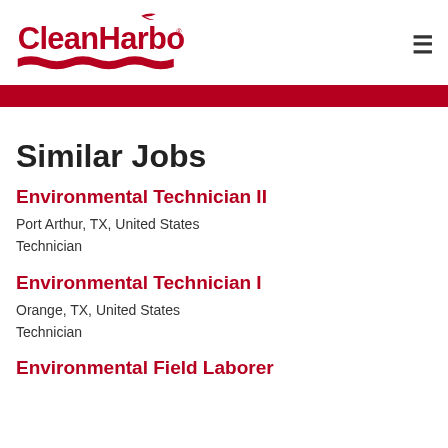[Figure (logo): Clean Harbors logo in red with wave graphic and seagull]
Similar Jobs
Environmental Technician II
Port Arthur, TX, United States
Technician
Environmental Technician I
Orange, TX, United States
Technician
Environmental Field Laborer